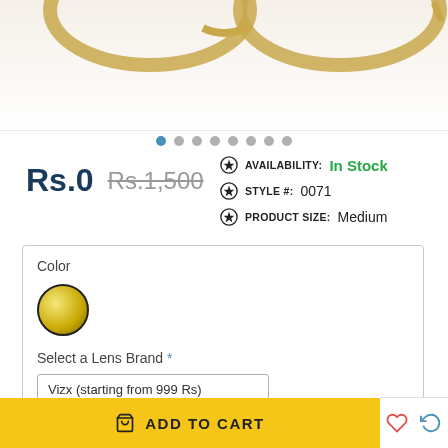[Figure (photo): Product photo area showing partial view of gold-toned eyewear frames at top of page]
● ● ● ● ● ● ● ●  (carousel navigation dots)
Rs.0  Rs.1,500
AVAILABILITY: In Stock
STYLE #: 0071
PRODUCT SIZE: Medium
Color
Select a Lens Brand *
Vizx (starting from 999 Rs)
ADD TO CART